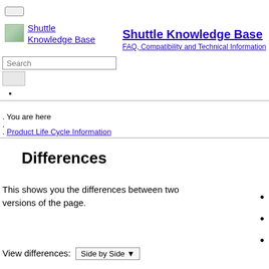Shuttle Knowledge Base — FAQ, Compatibility and Technical Information
. You are here
.
. Product Life Cycle Information
Differences
This shows you the differences between two versions of the page.
View differences: Side by Side